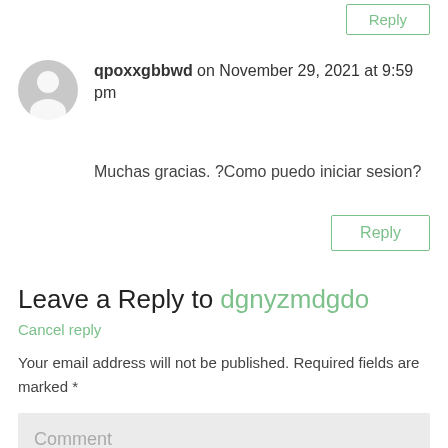Reply (top button)
qpoxxgbbwd on November 29, 2021 at 9:59 pm
Muchas gracias. ?Como puedo iniciar sesion?
Reply
Leave a Reply to dgnyzmdgdo
Cancel reply
Your email address will not be published. Required fields are marked *
Comment